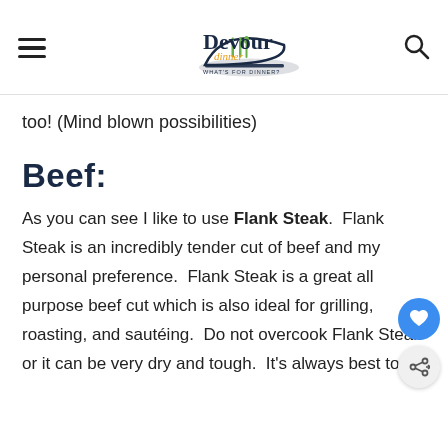Devour Dinner - WHAT'S FOR DINNER?
too! (Mind blown possibilities)
Beef:
As you can see I like to use Flank Steak.  Flank Steak is an incredibly tender cut of beef and my personal preference.  Flank Steak is a great all purpose beef cut which is also ideal for grilling, roasting, and sautéing.  Do not overcook Flank Steak or it can be very dry and tough.  It's always best to